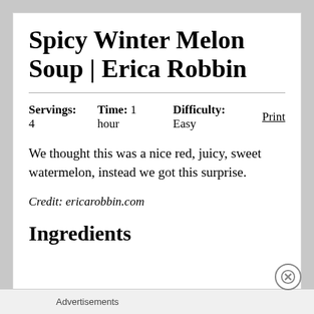Spicy Winter Melon Soup | Erica Robbin
Servings: 4    Time: 1 hour    Difficulty: Easy    Print
We thought this was a nice red, juicy, sweet watermelon, instead we got this surprise.
Credit: ericarobbin.com
Ingredients
Advertisements